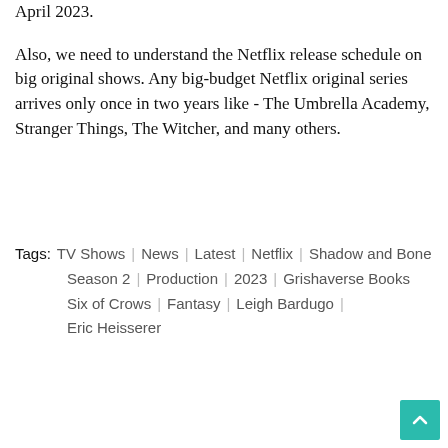April 2023.
Also, we need to understand the Netflix release schedule on big original shows. Any big-budget Netflix original series arrives only once in two years like - The Umbrella Academy, Stranger Things, The Witcher, and many others.
Tags: TV Shows | News | Latest | Netflix | Shadow and Bone | Season 2 | Production | 2023 | Grishaverse Books | Six of Crows | Fantasy | Leigh Bardugo | Eric Heisserer